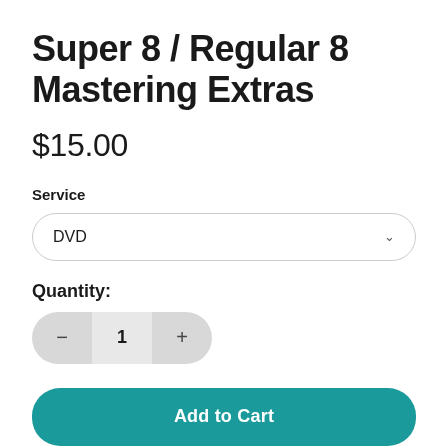Super 8 / Regular 8 Mastering Extras
$15.00
Service
DVD
Quantity:
1
Add to Cart